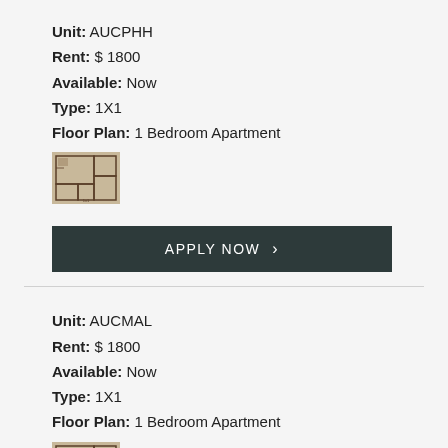Unit: AUCPHH
Rent: $ 1800
Available: Now
Type: 1X1
Floor Plan: 1 Bedroom Apartment
[Figure (illustration): Small floor plan thumbnail image for unit AUCPHH showing a 1 bedroom apartment layout]
APPLY NOW >
Unit: AUCMAL
Rent: $ 1800
Available: Now
Type: 1X1
Floor Plan: 1 Bedroom Apartment
[Figure (illustration): Small floor plan thumbnail image for unit AUCMAL showing a 1 bedroom apartment layout]